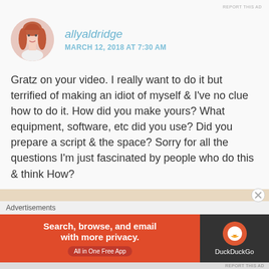REPORT THIS AD
[Figure (photo): Round avatar photo of a woman with long red/auburn hair, wearing a white top, against a light background]
allyaldridge
MARCH 12, 2018 AT 7:30 AM
Gratz on your video. I really want to do it but terrified of making an idiot of myself & I've no clue how to do it. How did you make yours? What equipment, software, etc did you use? Did you prepare a script & the space? Sorry for all the questions I'm just fascinated by people who do this & think How?
★ Liked by 1 person
REPLY
[Figure (screenshot): DuckDuckGo advertisement banner: orange left panel with text 'Search, browse, and email with more privacy. All in One Free App' and dark right panel with DuckDuckGo logo]
REPORT THIS AD